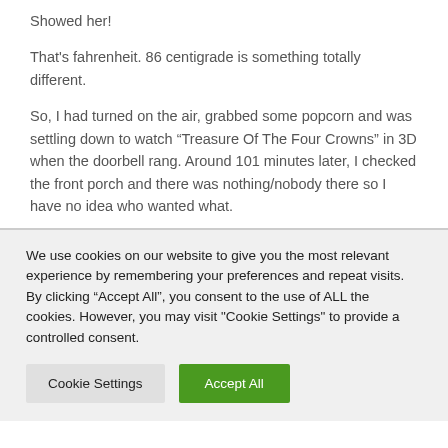Showed her!
That's fahrenheit. 86 centigrade is something totally different.
So, I had turned on the air, grabbed some popcorn and was settling down to watch “Treasure Of The Four Crowns” in 3D when the doorbell rang. Around 101 minutes later, I checked the front porch and there was nothing/nobody there so I have no idea who wanted what.
We use cookies on our website to give you the most relevant experience by remembering your preferences and repeat visits. By clicking “Accept All”, you consent to the use of ALL the cookies. However, you may visit "Cookie Settings" to provide a controlled consent.